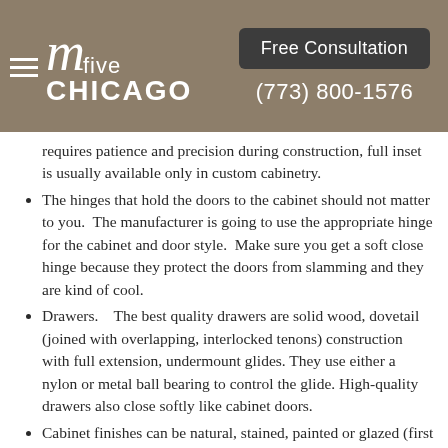m five CHICAGO | Free Consultation | (773) 800-1576
requires patience and precision during construction, full inset is usually available only in custom cabinetry.
The hinges that hold the doors to the cabinet should not matter to you. The manufacturer is going to use the appropriate hinge for the cabinet and door style. Make sure you get a soft close hinge because they protect the doors from slamming and they are kind of cool.
Drawers. The best quality drawers are solid wood, dovetail (joined with overlapping, interlocked tenons) construction with full extension, undermount glides. They use either a nylon or metal ball bearing to control the glide. High-quality drawers also close softly like cabinet doors.
Cabinet finishes can be natural, stained, painted or glazed (first painted then stained to add highlights